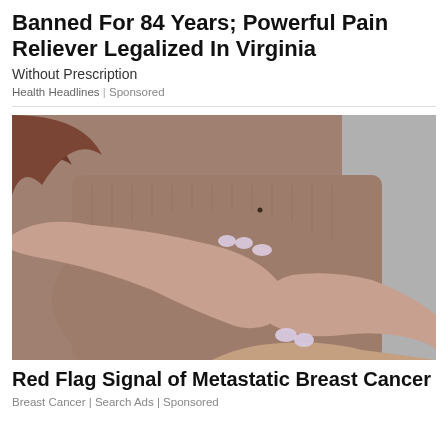Banned For 84 Years; Powerful Pain Reliever Legalized In Virginia
Without Prescription
Health Headlines | Sponsored
[Figure (photo): Woman in a mauve/brown fitted top pressing both hands against her chest, with painted white/light nails, suggesting a breast self-examination.]
Red Flag Signal of Metastatic Breast Cancer
Breast Cancer | Search Ads | Sponsored